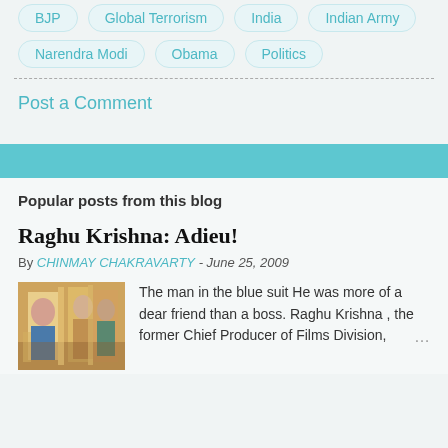BJP
Global Terrorism
India
Indian Army
Narendra Modi
Obama
Politics
Post a Comment
Popular posts from this blog
Raghu Krishna: Adieu!
By CHINMAY CHAKRAVARTY - June 25, 2009
[Figure (photo): A man in a blue suit at a formal event with other people in traditional Indian attire]
The man in the blue suit He was more of a dear friend than a boss. Raghu Krishna , the former Chief Producer of Films Division,